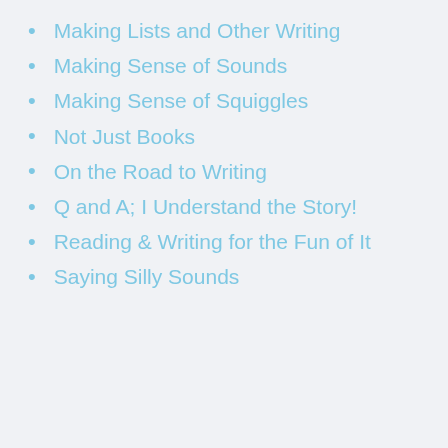Making Lists and Other Writing
Making Sense of Sounds
Making Sense of Squiggles
Not Just Books
On the Road to Writing
Q and A; I Understand the Story!
Reading & Writing for the Fun of It
Saying Silly Sounds